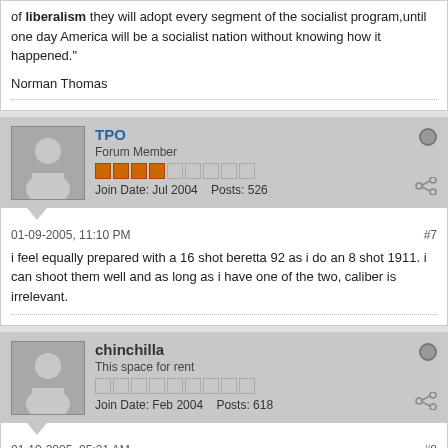of liberalism they will adopt every segment of the socialist program, until one day America will be a socialist nation without knowing how it happened."

Norman Thomas
TPO
Forum Member
Join Date: Jul 2004   Posts: 526
01-09-2005, 11:10 PM
#7
i feel equally prepared with a 16 shot beretta 92 as i do an 8 shot 1911. i can shoot them well and as long as i have one of the two, caliber is irrelevant.
chinchilla
This space for rent
Join Date: Feb 2004   Posts: 618
01-10-2005, 05:21 AM
#8